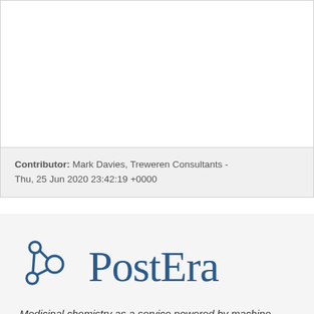Contributor: Mark Davies, Treweren Consultants - Thu, 25 Jun 2020 23:42:19 +0000
[Figure (logo): PostEra logo — a molecular network icon (circles and lines representing a molecule graph) in steel blue, followed by the word PostEra in a serif font in the same steel blue color]
Medicinal chemistry as a service powered by machine learning
Boston, MA